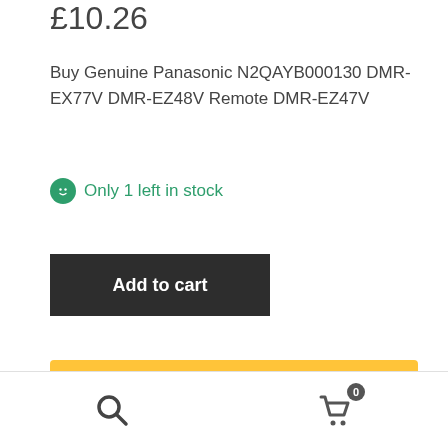£10.26
Buy Genuine Panasonic N2QAYB000130 DMR-EX77V DMR-EZ48V Remote DMR-EZ47V
Only 1 left in stock
Add to cart
[Figure (other): PayPal payment button with yellow background]
[Figure (other): Debit or Credit Card payment button with dark background]
Search icon and Cart icon with badge showing 0